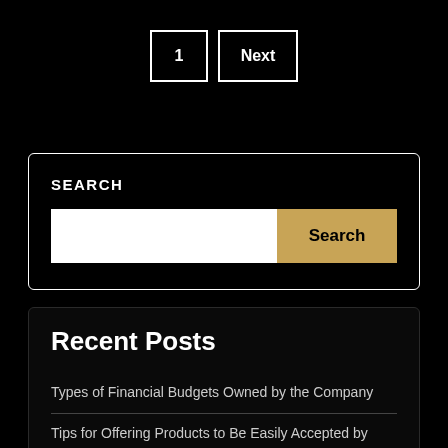1  Next
SEARCH
Search
Recent Posts
Types of Financial Budgets Owned by the Company
Tips for Offering Products to Be Easily Accepted by